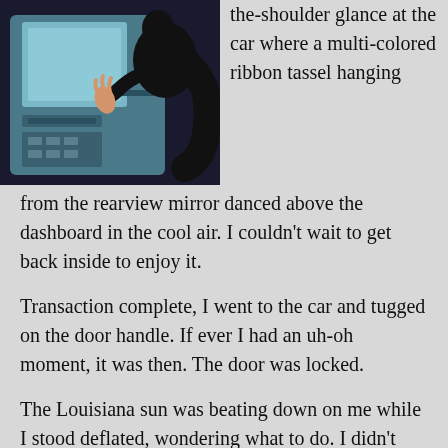[Figure (illustration): Illustration of a person in dark clothing at an ATM or bank machine, viewed from behind/side, with the machine showing a screen and card slot]
the-shoulder glance at the car where a multi-colored ribbon tassel hanging from the rearview mirror danced above the dashboard in the cool air. I couldn't wait to get back inside to enjoy it.
Transaction complete, I went to the car and tugged on the door handle. If ever I had an uh-oh moment, it was then. The door was locked.
The Louisiana sun was beating down on me while I stood deflated, wondering what to do. I didn't relish the thought of a two-mile hike back to the house to get the spare set of keys.
I entered the bank and took a deep breath of cool air before approaching a teller window. The young woman who greeted me listened sympathetically as I told her my